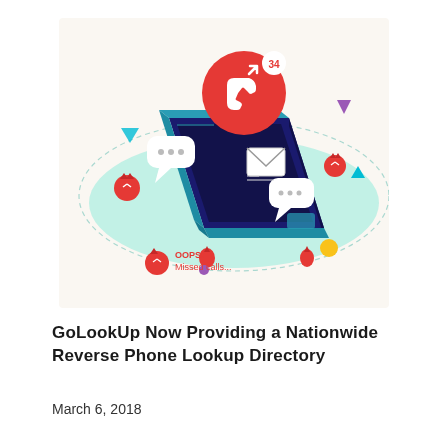[Figure (illustration): Isometric illustration of a smartphone with spam/missed call notifications floating above it — red phone icon with '34', speech bubbles with '...', devil mask icons, envelope icon, colorful geometric shapes (triangles, dots). Text at bottom left reads 'OOPS! Missed calls...' with a red devil icon. Background has a soft teal oval and cream color.]
GoLookUp Now Providing a Nationwide Reverse Phone Lookup Directory
March 6, 2018